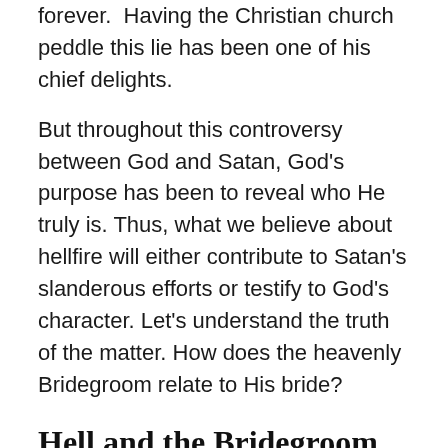forever.  Having the Christian church peddle this lie has been one of his chief delights.
But throughout this controversy between God and Satan, God's purpose has been to reveal who He truly is. Thus, what we believe about hellfire will either contribute to Satan's slanderous efforts or testify to God's character. Let's understand the truth of the matter. How does the heavenly Bridegroom relate to His bride?
Hell and the Bridegroom
Recently, my wife and I boarded a non-stop flight from Washington, DC, to San Francisco. We sat next to a young man and ended up talking with